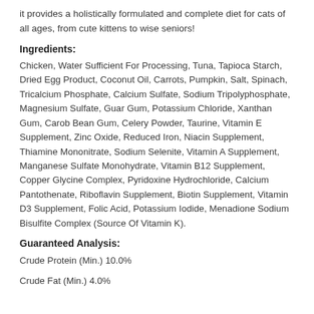it provides a holistically formulated and complete diet for cats of all ages, from cute kittens to wise seniors!
Ingredients:
Chicken, Water Sufficient For Processing, Tuna, Tapioca Starch, Dried Egg Product, Coconut Oil, Carrots, Pumpkin, Salt, Spinach, Tricalcium Phosphate, Calcium Sulfate, Sodium Tripolyphosphate, Magnesium Sulfate, Guar Gum, Potassium Chloride, Xanthan Gum, Carob Bean Gum, Celery Powder, Taurine, Vitamin E Supplement, Zinc Oxide, Reduced Iron, Niacin Supplement, Thiamine Mononitrate, Sodium Selenite, Vitamin A Supplement, Manganese Sulfate Monohydrate, Vitamin B12 Supplement, Copper Glycine Complex, Pyridoxine Hydrochloride, Calcium Pantothenate, Riboflavin Supplement, Biotin Supplement, Vitamin D3 Supplement, Folic Acid, Potassium Iodide, Menadione Sodium Bisulfite Complex (Source Of Vitamin K).
Guaranteed Analysis:
Crude Protein (Min.) 10.0%
Crude Fat (Min.) 4.0%